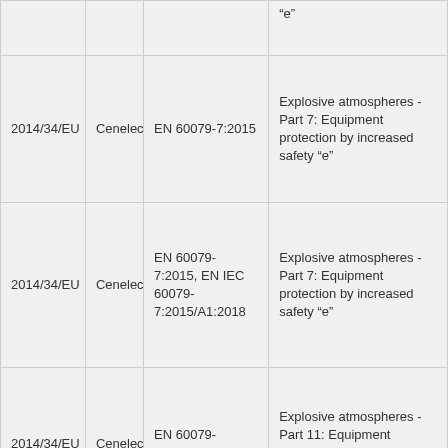|  |  |  | "e" |
| 2014/34/EU | Cenelec | EN 60079-7:2015 | Explosive atmospheres - Part 7: Equipment protection by increased safety "e" |
| 2014/34/EU | Cenelec | EN 60079-7:2015, EN IEC 60079-7:2015/A1:2018 | Explosive atmospheres - Part 7: Equipment protection by increased safety "e" |
| 2014/34/EU | Cenelec | EN 60079-11:2012 | Explosive atmospheres - Part 11: Equipment protection by intrinsic safety "i" |
|  |  |  | Explosive |